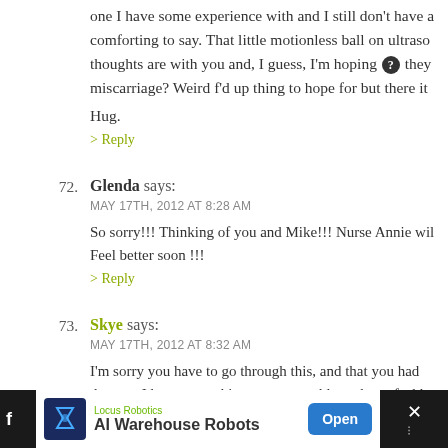one I have some experience with and I still don't have a comforting to say. That little motionless ball on ultraso thoughts are with you and, I guess, I'm hoping ❓ they miscarriage? Weird f'd up thing to hope for but there it
Hug.
> Reply
72. Glenda says: MAY 17TH, 2012 AT 8:28 AM
So sorry!!! Thinking of you and Mike!!! Nurse Annie wil Feel better soon !!!
> Reply
73. Skye says: MAY 17TH, 2012 AT 8:32 AM
I'm sorry you have to go through this, and that you had doctors. I hope everything goes smoothly and you feel b Keeping you all in my thoughts.
[Figure (screenshot): Advertisement bar at the bottom: Locus Robotics 'AI Warehouse Robots' ad with Open button, Facebook icon on left, close X on right]